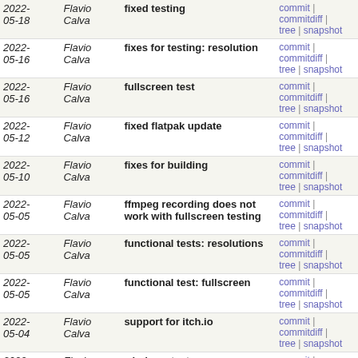| Date | Author | Message | Links |
| --- | --- | --- | --- |
| 2022-05-18 | Flavio Calva | fixed testing | commit | commitdiff | tree | snapshot |
| 2022-05-16 | Flavio Calva | fixes for testing: resolution | commit | commitdiff | tree | snapshot |
| 2022-05-16 | Flavio Calva | fullscreen test | commit | commitdiff | tree | snapshot |
| 2022-05-12 | Flavio Calva | fixed flatpak update | commit | commitdiff | tree | snapshot |
| 2022-05-10 | Flavio Calva | fixes for building | commit | commitdiff | tree | snapshot |
| 2022-05-05 | Flavio Calva | ffmpeg recording does not work with fullscreen testing | commit | commitdiff | tree | snapshot |
| 2022-05-05 | Flavio Calva | functional tests: resolutions | commit | commitdiff | tree | snapshot |
| 2022-05-05 | Flavio Calva | functional test: fullscreen | commit | commitdiff | tree | snapshot |
| 2022-05-04 | Flavio Calva | support for itch.io | commit | commitdiff | tree | snapshot |
| 2022-04-29 | Flavio Calva | windows tests | commit | commitdiff | tree | snapshot |
| 2022-04-28 | Flavio Calva | some fixes for windows testing | commit | commitdiff | tree | snapshot |
| 2022-04-28 | Flavio Calva | external testing process | commit | commitdiff | tree | snapshot |
| 2022-04-27 | Flavio Calva | reverted the workaround for flatpak | commit | commitdiff | tree | snapshot |